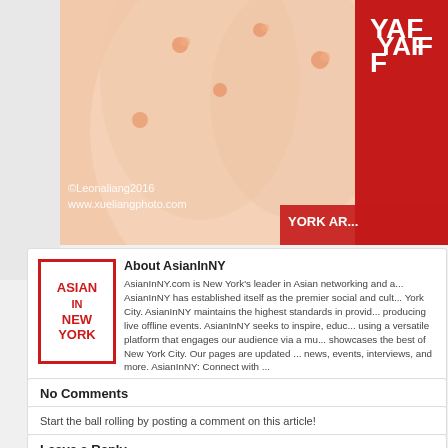[Figure (photo): Fashion photo showing a pink/peach dress with floral embellishments, with a YAFF (York Arts Film Festival) red branded banner/sign visible in the background. Copyright watermark: ©Leonaliang2016 www.xueliangphoto.com]
©Leonaliang2016
www.xueliangphoto.com
About AsianInNY
AsianInNY.com is New York's leader in Asian networking and a... AsianInNY has established itself as the premier social and cult... York City. AsianInNY maintains the highest standards in provid... producing live offline events. AsianInNY seeks to inspire, educ... using a versatile platform that engages our audience via a mu... showcases the best of New York City. Our pages are updated ... news, events, interviews, and more. AsianInNY: Connect with ...
No Comments
Start the ball rolling by posting a comment on this article!
Leave a Reply